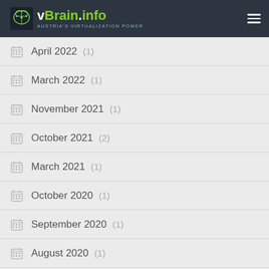vBrain.info — AUSTRIA'S VIRTUALIZATION POWER
April 2022 (1)
March 2022 (1)
November 2021 (1)
October 2021 (2)
March 2021 (1)
October 2020 (1)
September 2020 (1)
August 2020 (1)
June 2020 (2)